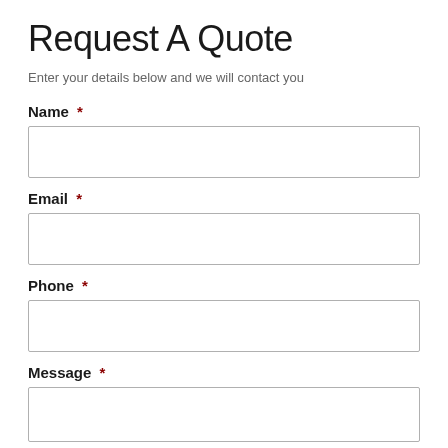Request A Quote
Enter your details below and we will contact you
Name *
Email *
Phone *
Message *